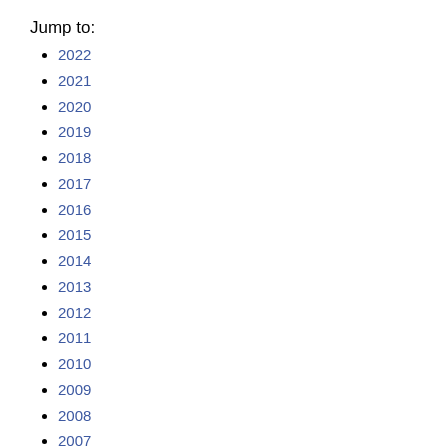Jump to:
2022
2021
2020
2019
2018
2017
2016
2015
2014
2013
2012
2011
2010
2009
2008
2007
2006
2005
1996
1993